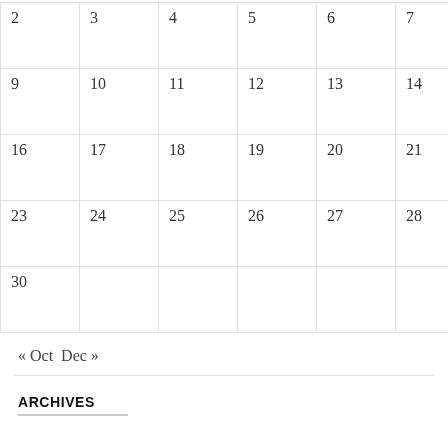| 2 | 3 | 4 | 5 | 6 | 7 | 8 |
| 9 | 10 | 11 | 12 | 13 | 14 | 15 |
| 16 | 17 | 18 | 19 | 20 | 21 | 22 |
| 23 | 24 | 25 | 26 | 27 | 28 | 29 |
| 30 |  |  |  |  |  |  |
« Oct  Dec »
ARCHIVES